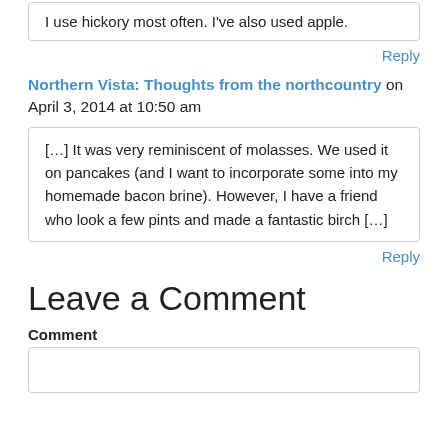I use hickory most often. I've also used apple.
Reply
Northern Vista: Thoughts from the northcountry on April 3, 2014 at 10:50 am
[…] It was very reminiscent of molasses. We used it on pancakes (and I want to incorporate some into my homemade bacon brine). However, I have a friend who look a few pints and made a fantastic birch […]
Reply
Leave a Comment
Comment